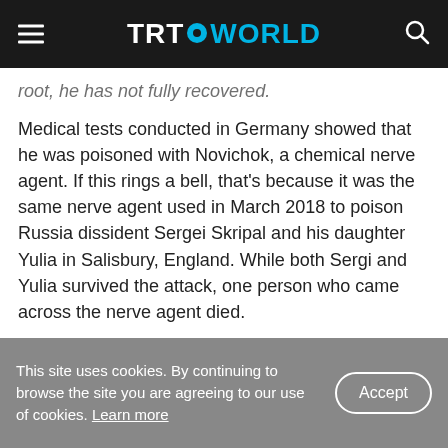TRT WORLD
root, he has not fully recovered.
Medical tests conducted in Germany showed that he was poisoned with Novichok, a chemical nerve agent. If this rings a bell, that's because it was the same nerve agent used in March 2018 to poison Russia dissident Sergei Skripal and his daughter Yulia in Salisbury, England. While both Sergi and Yulia survived the attack, one person who came across the nerve agent died.
Novichok is an extremely potent substance that
This site uses cookies. By continuing to browse the site you are agreeing to our use of cookies. Learn more